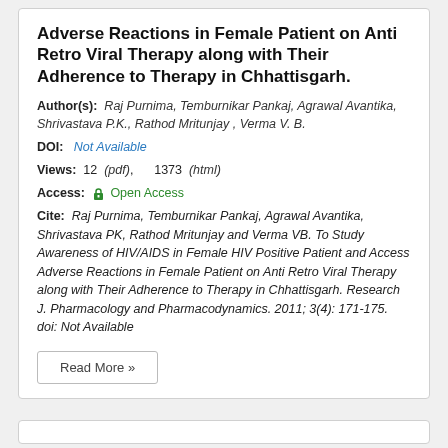Adverse Reactions in Female Patient on Anti Retro Viral Therapy along with Their Adherence to Therapy in Chhattisgarh.
Author(s): Raj Purnima, Temburnikar Pankaj, Agrawal Avantika, Shrivastava P.K., Rathod Mritunjay , Verma V. B.
DOI: Not Available
Views: 12 (pdf), 1373 (html)
Access: Open Access
Cite: Raj Purnima, Temburnikar Pankaj, Agrawal Avantika, Shrivastava PK, Rathod Mritunjay and Verma VB. To Study Awareness of HIV/AIDS in Female HIV Positive Patient and Access Adverse Reactions in Female Patient on Anti Retro Viral Therapy along with Their Adherence to Therapy in Chhattisgarh. Research J. Pharmacology and Pharmacodynamics. 2011; 3(4): 171-175. doi: Not Available
Read More »